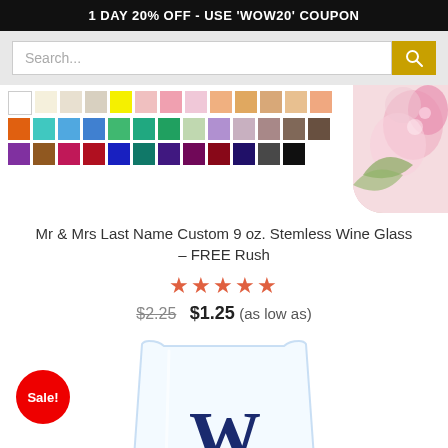1 DAY 20% OFF - USE 'WOW20' COUPON
[Figure (screenshot): Search bar with text 'Search...' and a gold search button icon]
[Figure (photo): Color swatch grid showing many color options for product customization, with pink floral decoration on the right]
Mr & Mrs Last Name Custom 9 oz. Stemless Wine Glass – FREE Rush
[Figure (other): Five orange/red star rating icons]
$2.25  $1.25 (as low as)
[Figure (photo): Clear stemless wine glass with dark navy letter W monogram, with a red Sale! badge in the bottom left area]